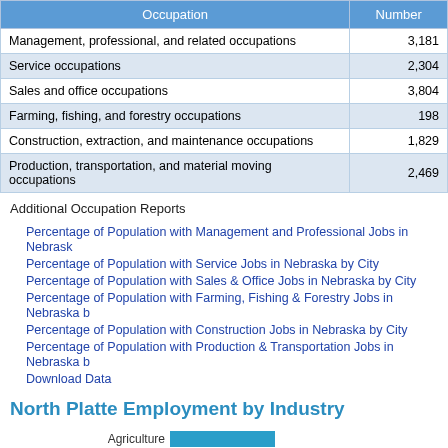| Occupation | Number |
| --- | --- |
| Management, professional, and related occupations | 3,181 |
| Service occupations | 2,304 |
| Sales and office occupations | 3,804 |
| Farming, fishing, and forestry occupations | 198 |
| Construction, extraction, and maintenance occupations | 1,829 |
| Production, transportation, and material moving occupations | 2,469 |
Additional Occupation Reports
Percentage of Population with Management and Professional Jobs in Nebraska by City
Percentage of Population with Service Jobs in Nebraska by City
Percentage of Population with Sales & Office Jobs in Nebraska by City
Percentage of Population with Farming, Fishing & Forestry Jobs in Nebraska by City
Percentage of Population with Construction Jobs in Nebraska by City
Percentage of Population with Production & Transportation Jobs in Nebraska by City
Download Data
North Platte Employment by Industry
[Figure (bar-chart): North Platte Employment by Industry]